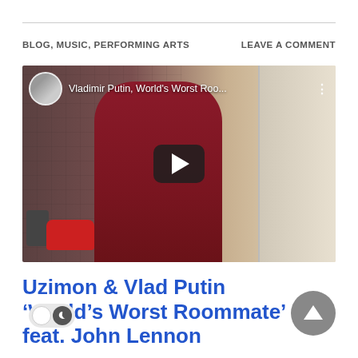BLOG, MUSIC, PERFORMING ARTS    LEAVE A COMMENT
[Figure (screenshot): YouTube video thumbnail showing a person in a maroon Adidas tracksuit and hat talking on phone in a kitchen, with video title 'Vladimir Putin, World's Worst Roo...' and a play button overlay]
Uzimon & Vlad Putin ‘World’s Worst Roommate’ feat. John Lennon